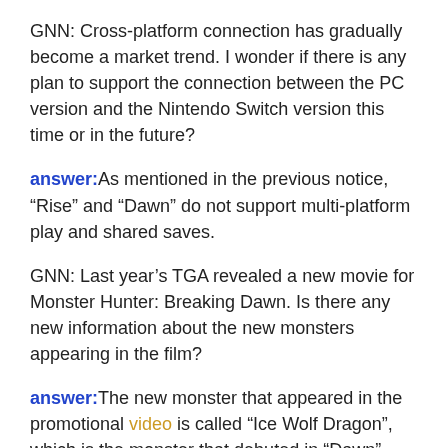GNN: Cross-platform connection has gradually become a market trend. I wonder if there is any plan to support the connection between the PC version and the Nintendo Switch version this time or in the future?
answer: As mentioned in the previous notice, “Rise” and “Dawn” do not support multi-platform play and shared saves.
GNN: Last year’s TGA revealed a new movie for Monster Hunter: Breaking Dawn. Is there any new information about the new monsters appearing in the film?
answer: The new monster that appeared in the promotional video is called “Ice Wolf Dragon”, which is the monster that debuted in “Dawn”. However, what you see in the film is not the whole of this monster. It will also push the hunter into a predicament with unexpected actions, so stay tuned.